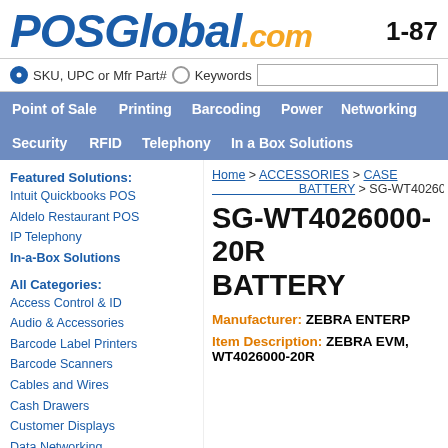POSGlobal.com  1-87
SKU, UPC or Mfr Part#  Keywords
Point of Sale  Printing  Barcoding  Power  Networking  Security  RFID  Telephony  In a Box Solutions
Featured Solutions: Intuit Quickbooks POS, Aldelo Restaurant POS, IP Telephony, In-a-Box Solutions
All Categories: Access Control & ID, Audio & Accessories, Barcode Label Printers, Barcode Scanners, Cables and Wires, Cash Drawers, Customer Displays, Data Networking, Digital Signage
Home > ACCESSORIES > CASE BATTERY > SG-WT4026000-20R
SG-WT4026000-20R BATTERY
Manufacturer: ZEBRA ENTERP
Item Description: ZEBRA EVM, WT4026000-20R